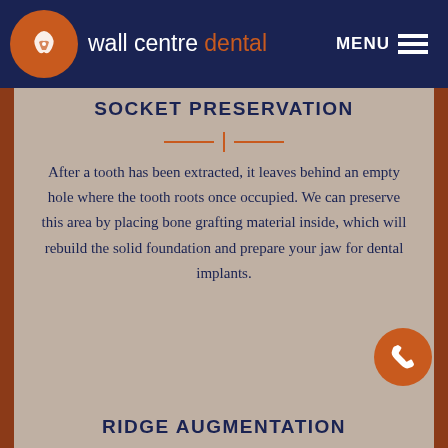[Figure (logo): Wall Centre Dental logo: orange circle with white tooth/hand icon, and brand name text 'wall centre dental' in white and orange on dark navy background, with MENU hamburger icon top right]
SOCKET PRESERVATION
After a tooth has been extracted, it leaves behind an empty hole where the tooth roots once occupied. We can preserve this area by placing bone grafting material inside, which will rebuild the solid foundation and prepare your jaw for dental implants.
RIDGE AUGMENTATION